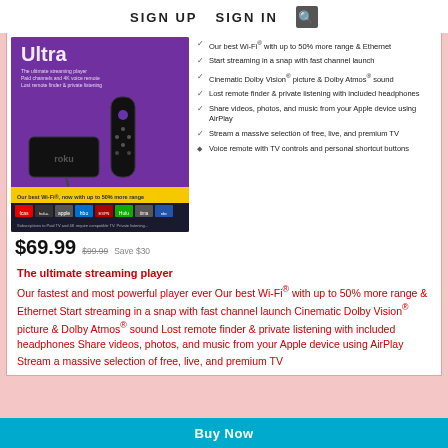SIGN UP   SIGN IN   [search]
[Figure (photo): Roku Ultra streaming player product box with remote control and earbuds, purple packaging showing streaming service logos]
Our best Wi-Fi® with up to 50% more range & Ethernet
Start streaming in a snap with fast channel launch
Cinematic Dolby Vision® picture & Dolby Atmos® sound
Lost remote finder & private listening with included headphones
Share videos, photos, and music from your Apple device using AirPlay
Stream a massive selection of free, live, and premium TV
Voice remote with TV controls and personal shortcut buttons
$69.99  $99.99  Save $30
The ultimate streaming player
Our fastest and most powerful player ever Our best Wi-Fi® with up to 50% more range & Ethernet Start streaming in a snap with fast channel launch Cinematic Dolby Vision® picture & Dolby Atmos® sound Lost remote finder & private listening with included headphones Share videos, photos, and music from your Apple device using AirPlay Stream a massive selection of free, live, and premium TV